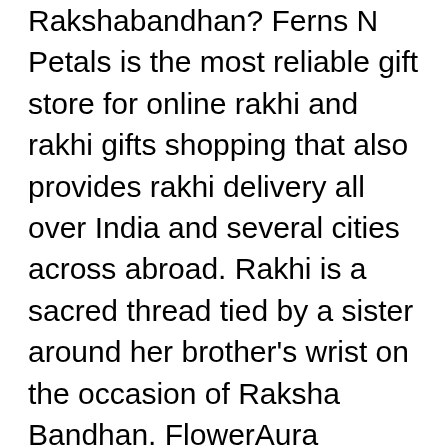Rakshabandhan? Ferns N Petals is the most reliable gift store for online rakhi and rakhi gifts shopping that also provides rakhi delivery all over India and several cities across abroad. Rakhi is a sacred thread tied by a sister around her brother's wrist on the occasion of Raksha Bandhan. FlowerAura operates in most of the cities. Pre - Booking Rakhi Offer- Rakhi @499/- Free Delivery Worldwide -Canada-Europe-Asia-Africa-Middle East-Usa-Australia-New Zealand,Send Rakhi To India @51/-Let. Pack … You are seeing this ad based on the product's relevance to your search query. It means 'a bond of protection'. Kids Silver Rakhi Ship Fast. In this manner, commend this celebration of delight with your family and make this event a huge one. Here you will get a dazzling array of rakhis available online. It stands for love, care, strength, support and understanding. Collection. 92.5 Bis Hallmark Sterling Pure Silver Curb chain for Men & Boys, Length : (20) (24) (28) Inch. For a brother who is so precious to you without whom you cannot imagine your